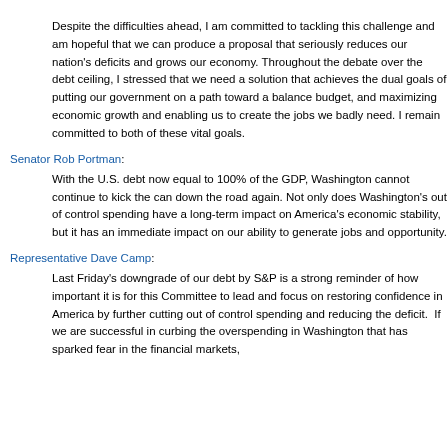Despite the difficulties ahead, I am committed to tackling this challenge and am hopeful that we can produce a proposal that seriously reduces our nation's deficits and grows our economy. Throughout the debate over the debt ceiling, I stressed that we need a solution that achieves the dual goals of putting our government on a path toward a balance budget, and maximizing economic growth and enabling us to create the jobs we badly need. I remain committed to both of these vital goals.
Senator Rob Portman:
With the U.S. debt now equal to 100% of the GDP, Washington cannot continue to kick the can down the road again. Not only does Washington's out of control spending have a long-term impact on America's economic stability, but it has an immediate impact on our ability to generate jobs and opportunity.
Representative Dave Camp:
Last Friday's downgrade of our debt by S&P is a strong reminder of how important it is for this Committee to lead and focus on restoring confidence in America by further cutting out of control spending and reducing the deficit.  If we are successful in curbing the overspending in Washington that has sparked fear in the financial markets, then...